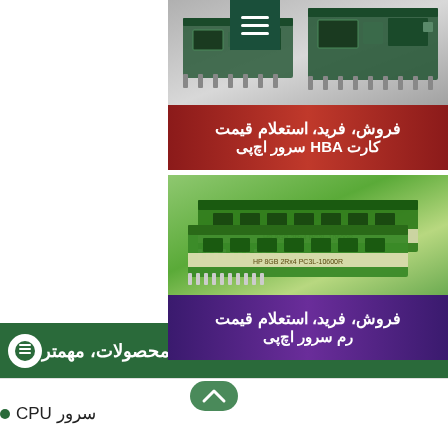[Figure (photo): Two HP server HBA cards on grey background with red banner overlay showing Persian text: فروش، فرید، استعلام قیمت کارت HBA سرور اچ‌پی]
[Figure (photo): Two green HP server RAM sticks on light background with purple banner overlay showing Persian text: فروش، فرید، استعلام قیمت رم سرور اچ‌پی]
محصولات، مهمتر
سرور CPU